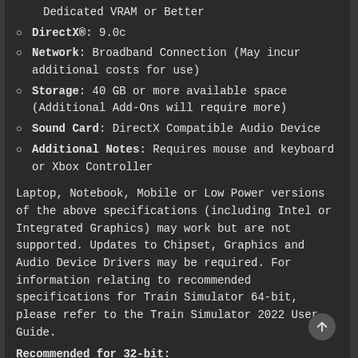Dedicated VRAM or Better
DirectX®: 9.0c
Network: Broadband Connection (May incur additional costs for use)
Storage: 40 GB or more available space (Additional Add-Ons will require more)
Sound Card: DirectX Compatible Audio Device
Additional Notes: Requires mouse and keyboard or Xbox Controller
Laptop, Notebook, Mobile or Low Power versions of the above specifications (including Intel or Integrated Graphics) may work but are not supported. Updates to Chipset, Graphics and Audio Device Drivers may be required. For information relating to recommended specifications for Train Simulator 64-bit, please refer to the Train Simulator 2022 User Guide.
Recommended for 32-bit: